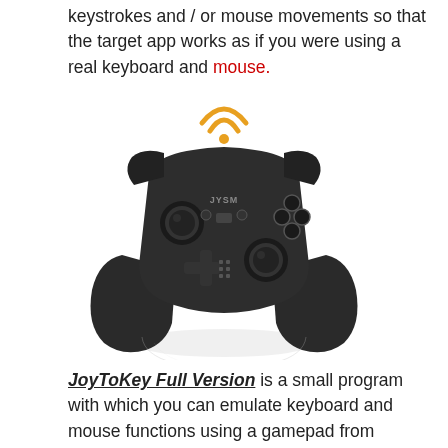keystrokes and / or mouse movements so that the target app works as if you were using a real keyboard and mouse.
[Figure (photo): A black wireless gamepad controller (JYSM brand) with a WiFi/wireless symbol above it, shown with a reflection below.]
JoyToKey Full Version is a small program with which you can emulate keyboard and mouse functions using a gamepad from completely different companies. The program, despite its modest size, offers a wide variety of settings. Supports creation of multiple profiles, emulation settings for individual applications, ranging from browser to games, allows to set individual key emulation and various